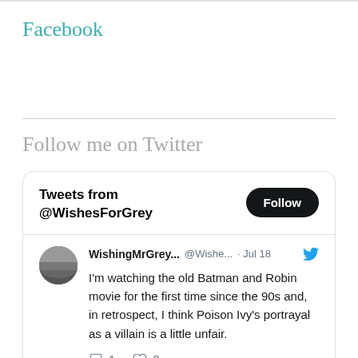Facebook
Follow me on Twitter
[Figure (screenshot): Twitter widget showing Tweets from @WishesForGrey with a Follow button. A tweet by WishingMrGrey... @Wishe... · Jul 18 reads: I'm watching the old Batman and Robin movie for the first time since the 90s and, in retrospect, I think Poison Ivy's portrayal as a villain is a little unfair. With 1 reply and 2 likes.]